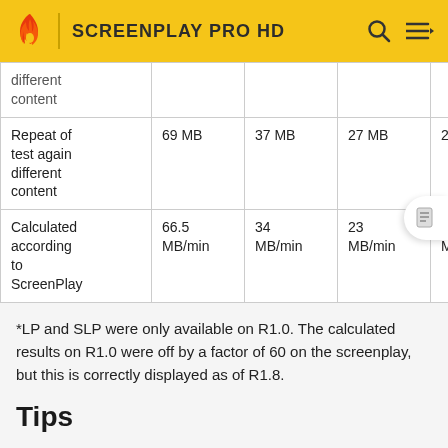SCREENPLAY PRO HD
|  | Col1 | Col2 | Col3 | Col4 | Col5 |
| --- | --- | --- | --- | --- | --- |
| different content |  |  |  |  |  |
| Repeat of test again different content | 69 MB | 37 MB | 27 MB | 22 MB |  |
| Calculated according to ScreenPlay | 66.5 MB/min | 34 MB/min | 23 MB/min | 17 MB/min | 11 MB… |
*LP and SLP were only available on R1.0. The calculated results on R1.0 were off by a factor of 60 on the screenplay, but this is correctly displayed as of R1.8.
Tips